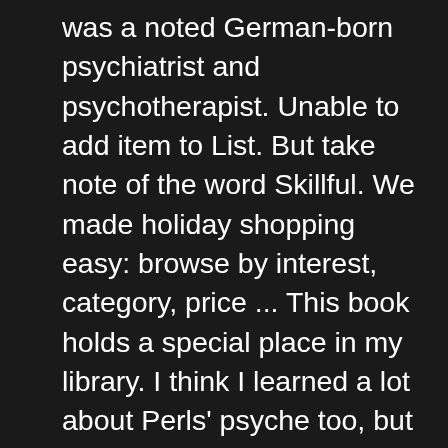was a noted German-born psychiatrist and psychotherapist. Unable to add item to List. But take note of the word Skillful. We made holiday shopping easy: browse by interest, category, price ... This book holds a special place in my library. I think I learned a lot about Perls' psyche too, but maybe I'm over thinking things; he seems to like being in the spotlight in front of the crowd and is particularly resistant to coming in too close contact / encounter with those who have boundary issues (both aspects seem ways to maintain self-determination). Reviewed in the United Kingdom on December 6, 2014, Reviewed in the United Kingdom on January 30, 2017, Reviewed in the United Kingdom on May 19, 2015. " Gestalt Prayer. This book was the basis for the framework of my early counseling style. There are numerous I would like to read. Something went wrong. by Gestalt Journal Press. For him, the only way to grow up is through frustration. Re-reading for my dissertation in